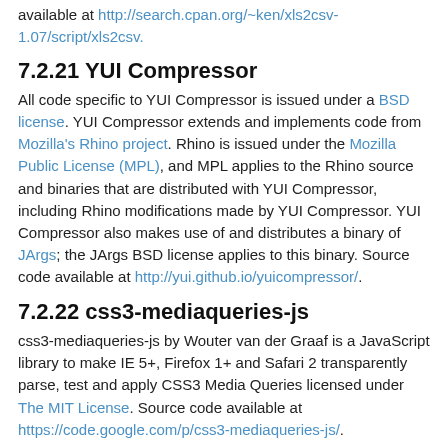available at http://search.cpan.org/~ken/xls2csv-1.07/script/xls2csv.
7.2.21 YUI Compressor
All code specific to YUI Compressor is issued under a BSD license. YUI Compressor extends and implements code from Mozilla's Rhino project. Rhino is issued under the Mozilla Public License (MPL), and MPL applies to the Rhino source and binaries that are distributed with YUI Compressor, including Rhino modifications made by YUI Compressor. YUI Compressor also makes use of and distributes a binary of JArgs; the JArgs BSD license applies to this binary. Source code available at http://yui.github.io/yuicompressor/.
7.2.22 css3-mediaqueries-js
css3-mediaqueries-js by Wouter van der Graaf is a JavaScript library to make IE 5+, Firefox 1+ and Safari 2 transparently parse, test and apply CSS3 Media Queries licensed under The MIT License. Source code available at https://code.google.com/p/css3-mediaqueries-js/.